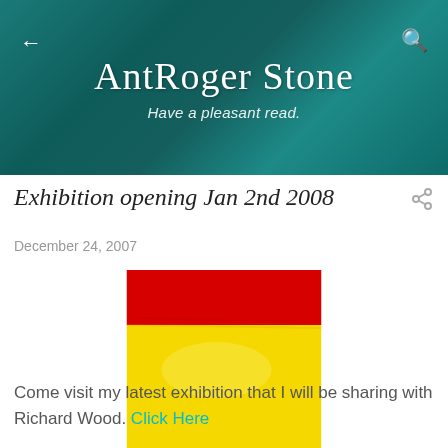AntRoger Stone
Have a pleasant read.
Exhibition opening Jan 2nd 2008
December 24, 2007
[Figure (illustration): A painting resembling the Spanish flag with horizontal bands: red at top, wide yellow in middle, red at bottom.]
Come visit my latest exhibition that I will be sharing with Richard Wood. Click Here